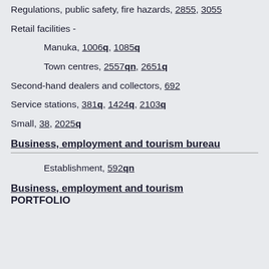Regulations, public safety, fire hazards, 2855, 3055
Retail facilities -
Manuka, 1006q, 1085q
Town centres, 2557qn, 2651q
Second-hand dealers and collectors, 692
Service stations, 381q, 1424q, 2103q
Small, 38, 2025q
Business, employment and tourism bureau
Establishment, 592qn
Business, employment and tourism PORTFOLIO